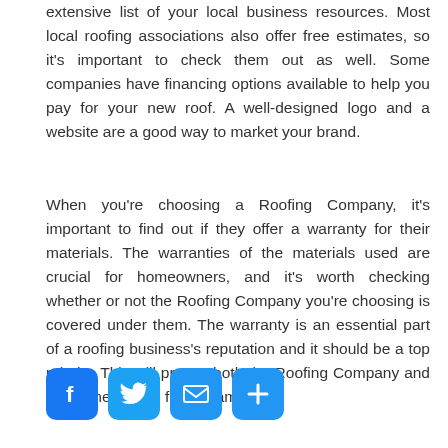extensive list of your local business resources. Most local roofing associations also offer free estimates, so it's important to check them out as well. Some companies have financing options available to help you pay for your new roof. A well-designed logo and a website are a good way to market your brand.
When you're choosing a Roofing Company, it's important to find out if they offer a warranty for their materials. The warranties of the materials used are crucial for homeowners, and it's worth checking whether or not the Roofing Company you're choosing is covered under them. The warranty is an essential part of a roofing business's reputation and it should be a top priority. This will protect both the Roofing Company and the homeowners from scams.
[Figure (infographic): Four social media / share icon buttons: Facebook (blue f), Twitter (blue bird), Email (envelope), and a plus/share button]